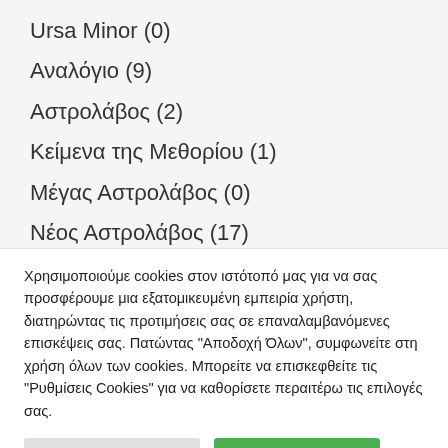Ursa Minor (0)
Αναλόγιο (9)
Αστρολάβος (2)
Κείμενα της Μεθορίου (1)
Μέγας Αστρολάβος (0)
Νέος Αστρολάβος (17)
Χρησιμοποιούμε cookies στον ιστότοπό μας για να σας προσφέρουμε μια εξατομικευμένη εμπειρία χρήστη, διατηρώντας τις προτιμήσεις σας σε επαναλαμβανόμενες επισκέψεις σας. Πατώντας "Αποδοχή Όλων", συμφωνείτε στη χρήση όλων των cookies. Μπορείτε να επισκεφθείτε τις "Ρυθμίσεις Cookies" για να καθορίσετε περαιτέρω τις επιλογές σας.
Ρυθμίσεις Cookies | Αποδοχή Όλων